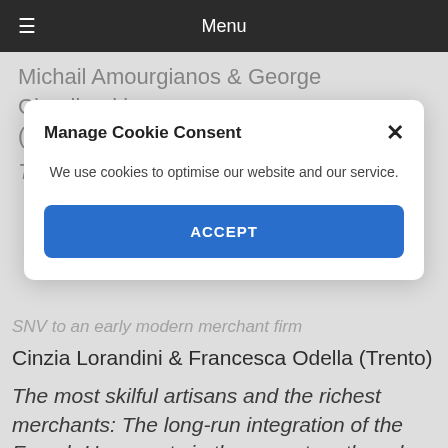Menu
Michail Amourgianos & George Chouliarakis (Manchester)
Thrift and the Great Depression
Manage Cookie Consent
We use cookies to optimise our website and our service.
ACCEPT
SNV to an early modern merchant firm
Cinzia Lorandini & Francesca Odella (Trento)
The most skilful artisans and the richest merchants: The long-run integration of the French Huguenots in the seventeenth and eighteenth century